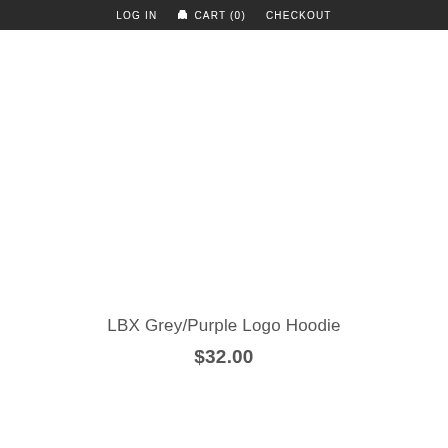LOG IN   CART (0)   CHECKOUT
LBX Grey/Purple Logo Hoodie
$32.00